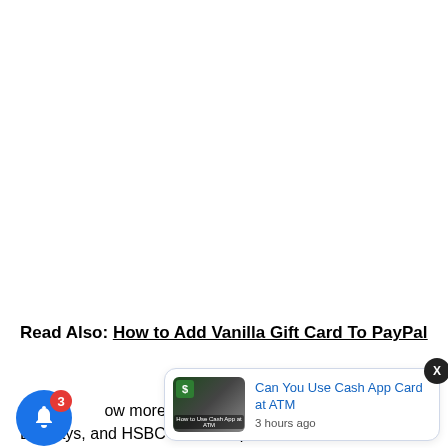Read Also: How to Add Vanilla Gift Card To PayPal
[Figure (screenshot): Notification popup showing 'Can You Use Cash App Card at ATM' with thumbnail image, blue title text, and '3 hours ago' timestamp. Also shows blue bell notification icon with red badge showing '3'. A dark close button 'X' is in the top right of the popup.]
...ow more...Barclays, and HSBC take to expire, then follow this article from start to finish.